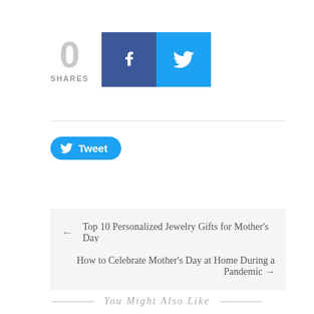[Figure (infographic): Social share counter showing 0 SHARES, with Facebook (blue) and Twitter (cyan) share buttons]
[Figure (infographic): Twitter Tweet button with bird icon]
← Top 10 Personalized Jewelry Gifts for Mother's Day
How to Celebrate Mother's Day at Home During a Pandemic →
You Might Also Like